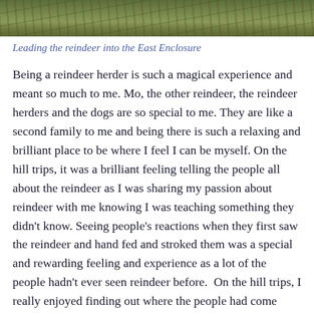[Figure (photo): Outdoor photograph showing grass and hillside terrain, partial view at top of page]
Leading the reindeer into the East Enclosure
Being a reindeer herder is such a magical experience and meant so much to me. Mo, the other reindeer, the reindeer herders and the dogs are so special to me. They are like a second family to me and being there is such a relaxing and brilliant place to be where I feel I can be myself. On the hill trips, it was a brilliant feeling telling the people all about the reindeer as I was sharing my passion about reindeer with me knowing I was teaching something they didn't know. Seeing people's reactions when they first saw the reindeer and hand fed and stroked them was a special and rewarding feeling and experience as a lot of the people hadn't ever seen reindeer before.  On the hill trips, I really enjoyed finding out where the people had come from and they told me about their lives and interests. On these hill trips, I met